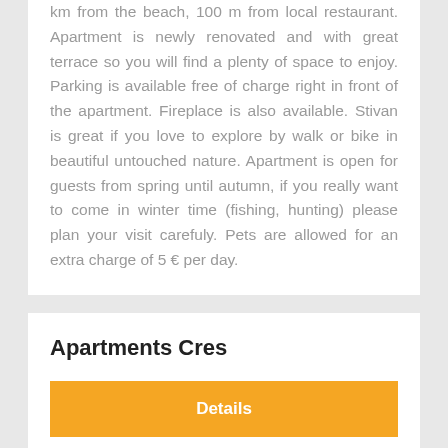km from the beach, 100 m from local restaurant. Apartment is newly renovated and with great terrace so you will find a plenty of space to enjoy. Parking is available free of charge right in front of the apartment. Fireplace is also available. Stivan is great if you love to explore by walk or bike in beautiful untouched nature. Apartment is open for guests from spring until autumn, if you really want to come in winter time (fishing, hunting) please plan your visit carefuly. Pets are allowed for an extra charge of 5 € per day.
Apartments Cres
Details